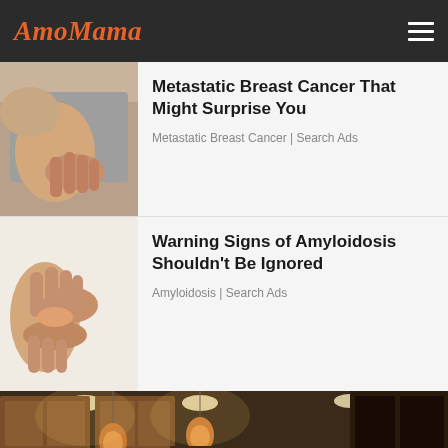AmoMama
Metastatic Breast Cancer That Might Surprise You
Metastatic Breast Cancer | Search Ads
[Figure (photo): Close-up of a woman touching her chest/breast area, wearing a gray tank top]
Warning Signs of Amyloidosis Shouldn't Be Ignored
Amyloidosis | Search Ads
[Figure (photo): Close-up of hands pinching/squeezing skin on an arm, medical illustration of amyloidosis symptom]
[Figure (photo): Interior kitchen photo showing wooden cabinetry, pendant lights, and modern kitchen design]